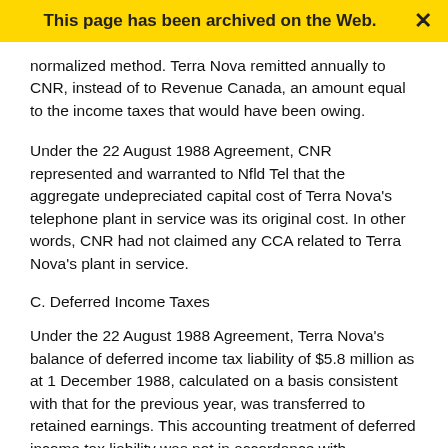This page has been archived on the Web.
normalized method. Terra Nova remitted annually to CNR, instead of to Revenue Canada, an amount equal to the income taxes that would have been owing.
Under the 22 August 1988 Agreement, CNR represented and warranted to Nfld Tel that the aggregate undepreciated capital cost of Terra Nova's telephone plant in service was its original cost. In other words, CNR had not claimed any CCA related to Terra Nova's plant in service.
C. Deferred Income Taxes
Under the 22 August 1988 Agreement, Terra Nova's balance of deferred income tax liability of $5.8 million as at 1 December 1988, calculated on a basis consistent with that for the previous year, was transferred to retained earnings. This accounting treatment of deferred income tax liability was not in accordance with accounting practices